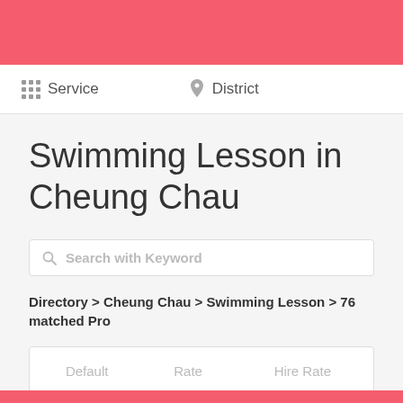Service   District
Swimming Lesson in Cheung Chau
Search with Keyword
Directory > Cheung Chau > Swimming Lesson > 76 matched Pro
| Default | Rate | Hire Rate |
| --- | --- | --- |